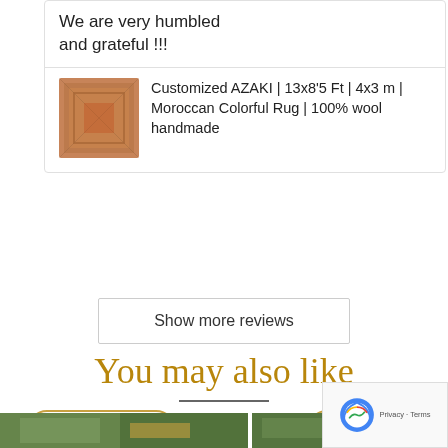We are very humbled and grateful !!!
Customized AZAKI | 13x8'5 Ft | 4x3 m | Moroccan Colorful Rug | 100% wool handmade
Show more reviews
You may also like
[Figure (other): Decorative horizontal divider line]
[Figure (other): SAVE $334.00 USD badge on left product]
[Figure (other): SAVE $155.00 USD badge on right product]
[Figure (photo): Product photo bottom left - rug outdoors on grass]
[Figure (photo): Product photo bottom right - rug outdoors]
[Figure (other): Google reCAPTCHA widget bottom right corner]